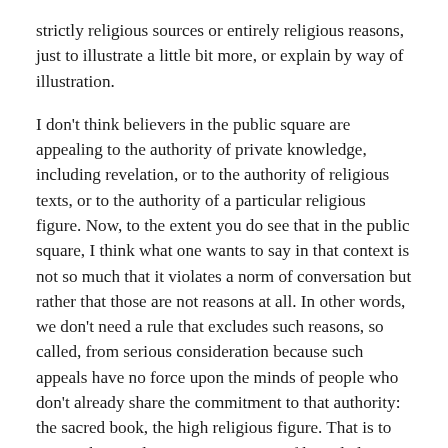strictly religious sources or entirely religious reasons, just to illustrate a little bit more, or explain by way of illustration.
I don't think believers in the public square are appealing to the authority of private knowledge, including revelation, or to the authority of religious texts, or to the authority of a particular religious figure. Now, to the extent you do see that in the public square, I think what one wants to say in that context is not so much that it violates a norm of conversation but rather that those are not reasons at all. In other words, we don't need a rule that excludes such reasons, so called, from serious consideration because such appeals have no force upon the minds of people who don't already share the commitment to that authority: the sacred book, the high religious figure. That is to say, such appeals to private sources of knowledge or to authority just aren't reasons at all. And I think that's an adequate response to such arguments in the public square.